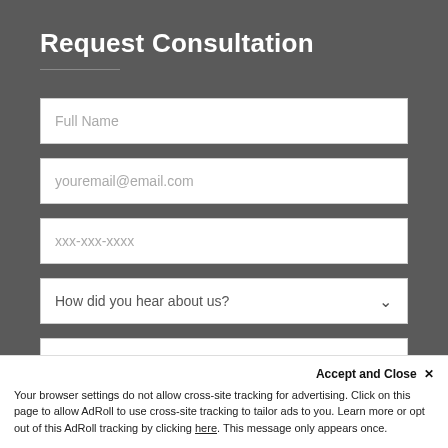Request Consultation
Full Name
youremail@email.com
xxx-xxx-xxxx
How did you hear about us?
Information Here
Accept and Close ✕
Your browser settings do not allow cross-site tracking for advertising. Click on this page to allow AdRoll to use cross-site tracking to tailor ads to you. Learn more or opt out of this AdRoll tracking by clicking here. This message only appears once.